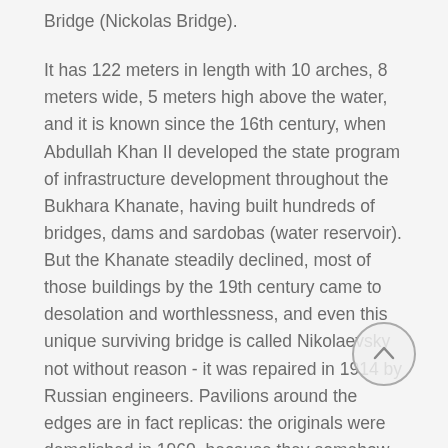Bridge (Nickolas Bridge).
It has 122 meters in length with 10 arches, 8 meters wide, 5 meters high above the water, and it is known since the 16th century, when Abdullah Khan II developed the state program of infrastructure development throughout the Bukhara Khanate, having built hundreds of bridges, dams and sardobas (water reservoir). But the Khanate steadily declined, most of those buildings by the 19th century came to desolation and worthlessness, and even this unique surviving bridge is called Nikolaevsky not without reason - it was repaired in 1914 by Russian engineers. Pavilions around the edges are in fact replicas: the originals were demolished in 1960, because they somehow prevented the public transport that was passing through the bridge.
The bridge serves also as a dam, and local people wash in the river with the greatest pleasure. You can see on the photos above Kashkadarya river below the dam in a natural channel. And this shallow river gives the name to the whole region. Water in this